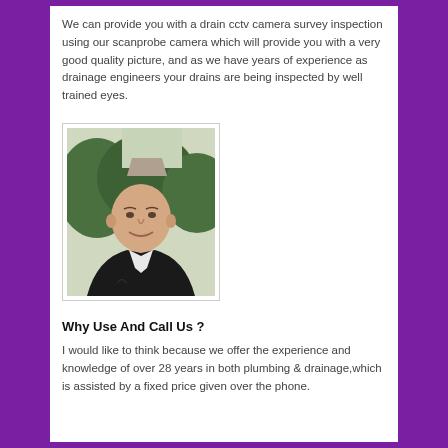We can provide you with a drain cctv camera survey inspection using our scanprobe camera which will provide you with a very good quality picture, and as we have years of experience as drainage engineers your drains are being inspected by well trained eyes.
[Figure (photo): Portrait photo of a middle-aged bald man wearing a black jacket with a white collar, smiling, with green foliage and a rooftop in the background.]
Why Use And Call Us ?
I would like to think because we offer the experience and knowledge of over 28 years in both plumbing & drainage,which is assisted by a fixed price given over the phone.